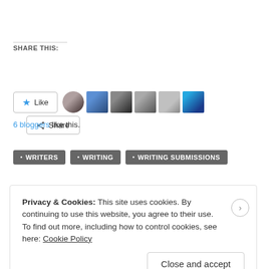SHARE THIS:
Share
Like   6 bloggers like this.
WRITERS
WRITING
WRITING SUBMISSIONS
Privacy & Cookies: This site uses cookies. By continuing to use this website, you agree to their use. To find out more, including how to control cookies, see here: Cookie Policy
Close and accept